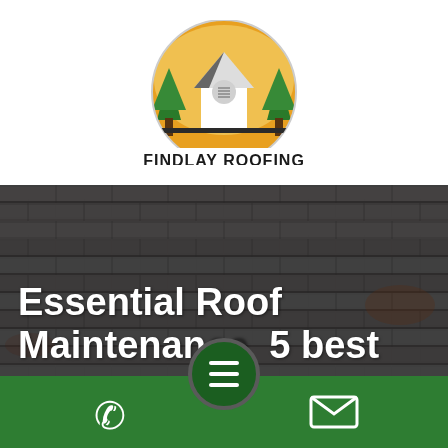[Figure (logo): Findlay Roofing logo — circular emblem with a house/roof graphic, green trees, and orange/yellow background. Company name 'FINDLAY ROOFING' written below in bold black text.]
[Figure (photo): Close-up photo of dark grey/charcoal asphalt roof shingles, forming the background of the page.]
Essential Roof Maintenance: 5 best
[Figure (other): Dark circular hamburger menu button with three white horizontal lines, partially overlapping the title text.]
Phone icon | Hamburger menu | Email icon on green bar